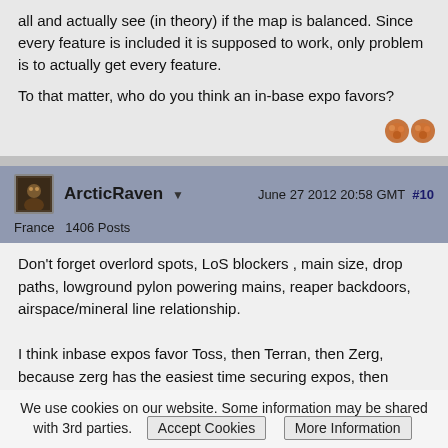all and actually see (in theory) if the map is balanced. Since every feature is included it is supposed to work, only problem is to actually get every feature.
To that matter, who do you think an in-base expo favors?
ArcticRaven  June 27 2012 20:58 GMT  #10
France  1406 Posts
Don't forget overlord spots, LoS blockers , main size, drop paths, lowground pylon powering mains, reaper backdoors, airspace/mineral line relationship.

I think inbase expos favor Toss, then Terran, then Zerg, because zerg has the easiest time securing expos, then terran, then toss ; so if they are free, this zerg advantage and toss disadvantage is removed.
[Govie] Wierd shit, on a 6 game AP winning streak with KOTL in the trench. I searched gandalf quotes and spammed them all game long, trenchwarfare247, whateva it takes!
We use cookies on our website. Some information may be shared with 3rd parties.  Accept Cookies   More Information